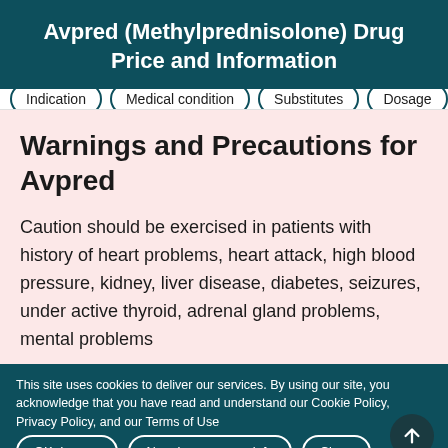Avpred (Methylprednisolone) Drug Price and Information
Indication | Medical condition | Substitutes | Dosage
Warnings and Precautions for Avpred
Caution should be exercised in patients with history of heart problems, heart attack, high blood pressure, kidney, liver disease, diabetes, seizures, under active thyroid, adrenal gland problems, mental problems
This site uses cookies to deliver our services. By using our site, you acknowledge that you have read and understand our Cookie Policy, Privacy Policy, and our Terms of Use
OK, I agree
No, give me more info
Close